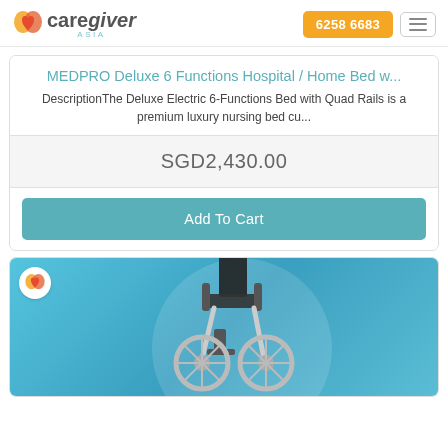[Figure (logo): CareGiver Asia logo with orange heart icon and teal 'ASIA' text]
6258 6683
MEDPRO Deluxe 6 Functions Hospital / Home Bed w...
DescriptionThe Deluxe Electric 6-Functions Bed with Quad Rails is a premium luxury nursing bed cu...
SGD2,430.00
Add To Cart
[Figure (photo): Electric wheelchair product image on blue gradient background with CareGiver Asia logo badge]